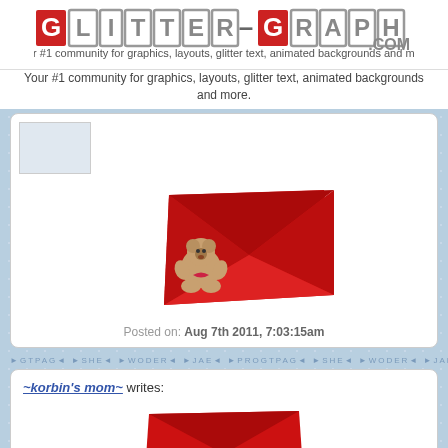[Figure (logo): Glitter-Graphics.com logo with stylized block letters, some with red background]
Your #1 community for graphics, layouts, glitter text, animated backgrounds and more.
[Figure (illustration): Teddy bear sitting in front of a red envelope/cloth graphic]
Posted on: Aug 7th 2011, 7:03:15am
~korbin's mom~ writes:
[Figure (illustration): Partial red envelope/cloth graphic at bottom of page]